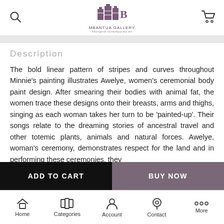Mbantua Gallery — Aboriginal contemporary art
Description
The bold linear pattern of stripes and curves throughout Minnie's painting illustrates Awelye, women's ceremonial body paint design. After smearing their bodies with animal fat, the women trace these designs onto their breasts, arms and thighs, singing as each woman takes her turn to be 'painted-up'. Their songs relate to the dreaming stories of ancestral travel and other totemic plants, animals and natural forces. Awelye, woman's ceremony, demonstrates respect for the land and in performing these ceremonies, they...
Minnie enjoys using many vivid colours in her paintings...
Home  Categories  Account  Contact  More